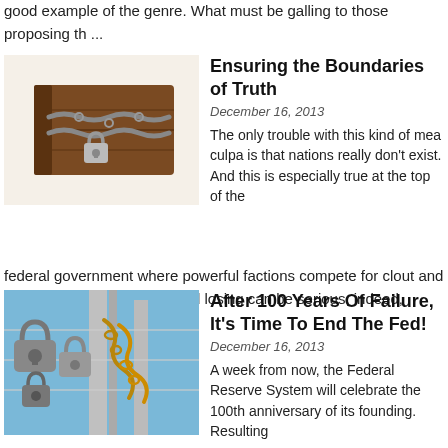good example of the genre. What must be galling to those proposing th ...
Ensuring the Boundaries of Truth
December 16, 2013
[Figure (photo): A stack of old books or scrolls bound tightly with a chain and padlock]
The only trouble with this kind of mea culpa is that nations really don't exist. And this is especially true at the top of the federal government where powerful factions compete for clout and funding. It's a blood sport and losing can be serious, indeed, potent ...
After 100 Years Of Failure, It's Time To End The Fed!
December 16, 2013
[Figure (photo): Multiple padlocks and chains on a chain-link fence against a blue sky]
A week from now, the Federal Reserve System will celebrate the 100th anniversary of its founding. Resulting from secret negotiations between bankers and politicians at Jekyll Island, the Fed's creation established a banking cartel and a board of government over...